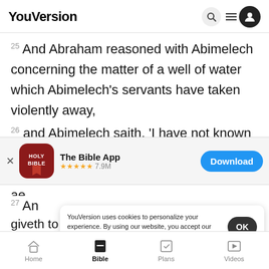YouVersion
25 And Abraham reasoned with Abimelech concerning the matter of a well of water which Abimelech's servants have taken violently away,
26 and Abimelech saith, 'I have not known who
[Figure (screenshot): App store banner for 'The Bible App' showing icon, star rating 7.9M, and Download button]
27 An
giveth to Abimelech, and they make  both of them
YouVersion uses cookies to personalize your experience. By using our website, you accept our use of cookies as described in our Privacy Policy.
Home  Bible  Plans  Videos